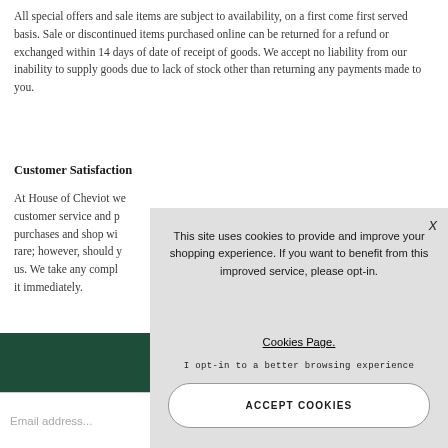All special offers and sale items are subject to availability, on a first come first served basis. Sale or discontinued items purchased online can be returned for a refund or exchanged within 14 days of date of receipt of goods. We accept no liability from our inability to supply goods due to lack of stock other than returning any payments made to you.
Customer Satisfaction
At House of Cheviot we customer service and p purchases and shop wi rare; however, should y us. We take any compl it immediately.
[Figure (screenshot): Cookie consent modal overlay with text: 'This site uses cookies to provide and improve your shopping experience. If you want to benefit from this improved service, please opt-in. Cookies Page. I opt-in to a better browsing experience' and an ACCEPT COOKIES button.]
Email address...